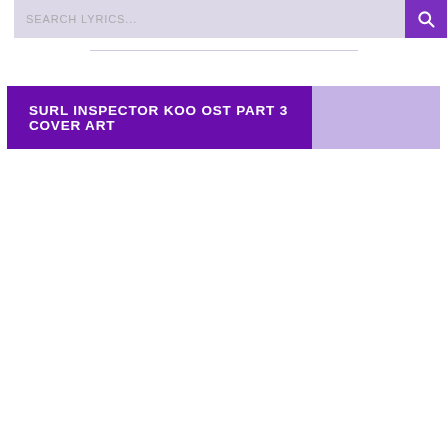SEARCH LYRICS...
SURL INSPECTOR KOO OST PART 3 COVER ART